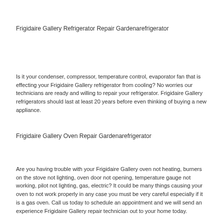Frigidaire Gallery Refrigerator Repair Gardenarefrigerator
Is it your condenser, compressor, temperature control, evaporator fan that is effecting your Frigidaire Gallery refrigerator from cooling? No worries our technicians are ready and willing to repair your refrigerator. Frigidaire Gallery refrigerators should last at least 20 years before even thinking of buying a new appliance.
Frigidaire Gallery Oven Repair Gardenarefrigerator
Are you having trouble with your Frigidaire Gallery oven not heating, burners on the stove not lighting, oven door not opening, temperature gauge not working, pilot not lighting, gas, electric? It could be many things causing your oven to not work properly in any case you must be very careful especially if it is a gas oven. Call us today to schedule an appointment and we will send an experience Frigidaire Gallery repair technician out to your home today.